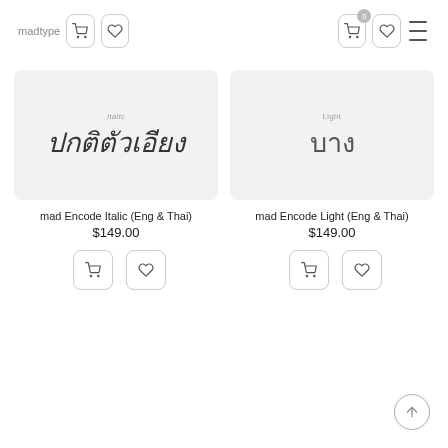madtype
[Figure (screenshot): Font preview card showing italic Thai text 'ปกติตัวเอียง' with label 'Italic']
mad Encode Italic (Eng & Thai)
$149.00
[Figure (screenshot): Font preview card showing light Thai text 'บาง' with label 'Light']
mad Encode Light (Eng & Thai)
$149.00